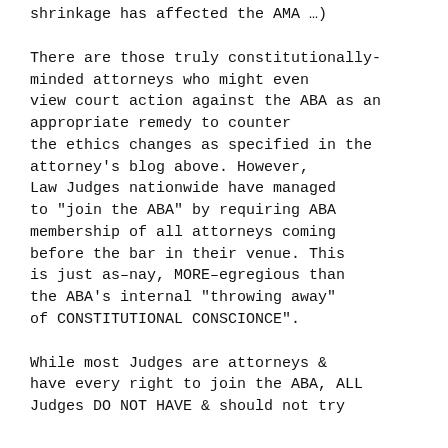shrinkage has affected the AMA …)
There are those truly constitutionally-minded attorneys who might even view court action against the ABA as an appropriate remedy to counter the ethics changes as specified in the attorney's blog above. However, Law Judges nationwide have managed to “join the ABA” by requiring ABA membership of all attorneys coming before the bar in their venue. This is just as–nay, MORE–egregious than the ABA’s internal “throwing away” of CONSTITUTIONAL CONSCIONCE”.
While most Judges are attorneys & have every right to join the ABA, ALL Judges DO NOT HAVE & should not try